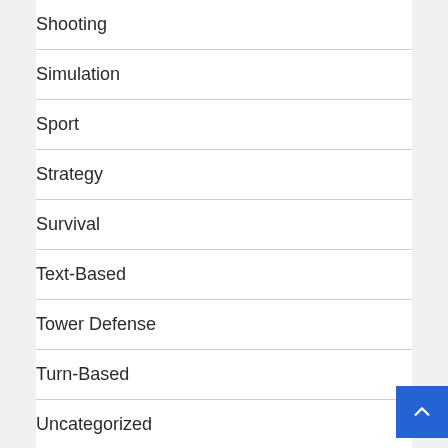Shooting
Simulation
Sport
Strategy
Survival
Text-Based
Tower Defense
Turn-Based
Uncategorized